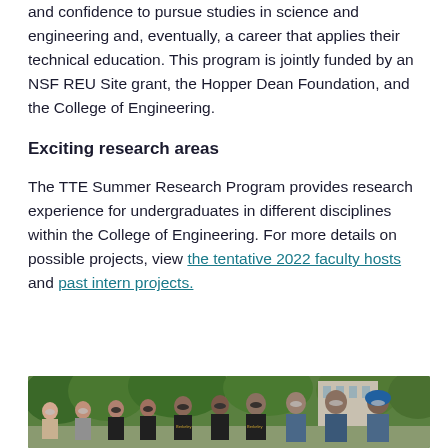and confidence to pursue studies in science and engineering and, eventually, a career that applies their technical education. This program is jointly funded by an NSF REU Site grant, the Hopper Dean Foundation, and the College of Engineering.
Exciting research areas
The TTE Summer Research Program provides research experience for undergraduates in different disciplines within the College of Engineering. For more details on possible projects, view the tentative 2022 faculty hosts and past intern projects.
[Figure (photo): Group photo of students and faculty wearing face masks outdoors, with trees and a building in the background. Some wear Berkeley t-shirts.]